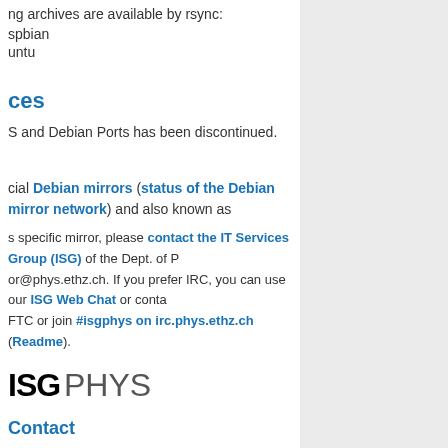ng archives are available by rsync:
spbian
untu
ces
S and Debian Ports has been discontinued.
cial Debian mirrors (status of the Debian mirror network) and also known as
s specific mirror, please contact the IT Services Group (ISG) of the Dept. of P
or@phys.ethz.ch. If you prefer IRC, you can use our ISG Web Chat or contact
FTC or join #isgphys on irc.phys.ethz.ch (Readme).
[Figure (logo): ISG PHYS logo in bold black and gray text]
Contact
ETH Zurich